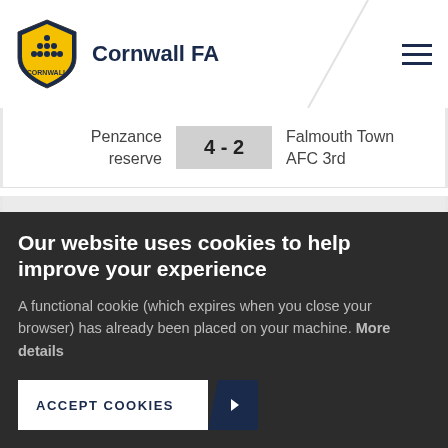Cornwall FA
Penzance reserve 4 - 2 Falmouth Town AFC 3rd
Home Win
16.
21/09/19  14:00
Our website uses cookies to help improve your experience
A functional cookie (which expires when you close your browser) has already been placed on your machine. More details
ACCEPT COOKIES